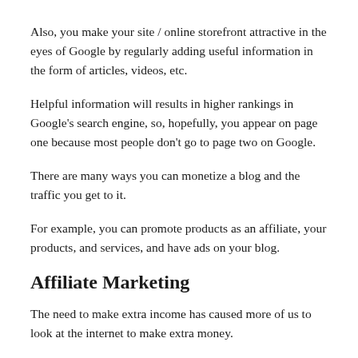Also, you make your site / online storefront attractive in the eyes of Google by regularly adding useful information in the form of articles, videos, etc.
Helpful information will results in higher rankings in Google's search engine, so, hopefully, you appear on page one because most people don't go to page two on Google.
There are many ways you can monetize a blog and the traffic you get to it.
For example, you can promote products as an affiliate, your products, and services, and have ads on your blog.
Affiliate Marketing
The need to make extra income has caused more of us to look at the internet to make extra money.